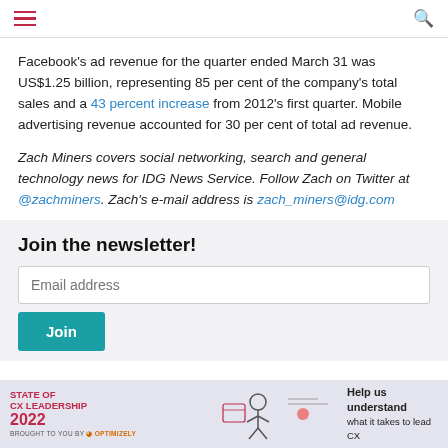[hamburger menu] [search icon]
Facebook's ad revenue for the quarter ended March 31 was US$1.25 billion, representing 85 per cent of the company's total sales and a 43 percent increase from 2012's first quarter. Mobile advertising revenue accounted for 30 per cent of total ad revenue.
Zach Miners covers social networking, search and general technology news for IDG News Service. Follow Zach on Twitter at @zachminers. Zach's e-mail address is zach_miners@idg.com
Join the newsletter!
Email address
Join
[Figure (infographic): State of CX Leadership 2022 advertisement banner brought to you by Optimizely with illustration and text 'Help us understand what it takes to lead CX']